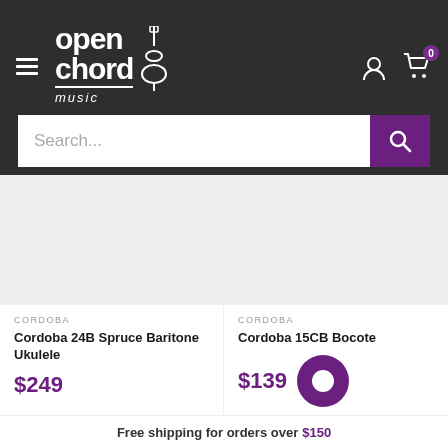Open Chord Music - Navigation header with logo, search bar, user icon, cart icon
[Figure (screenshot): Open Chord Music logo with guitar graphic]
Search...
CORDOBA
Cordoba 24B Spruce Baritone Ukulele
$249
CORDOBA
Cordoba 15CB Bocote
$139
Free shipping for orders over $150